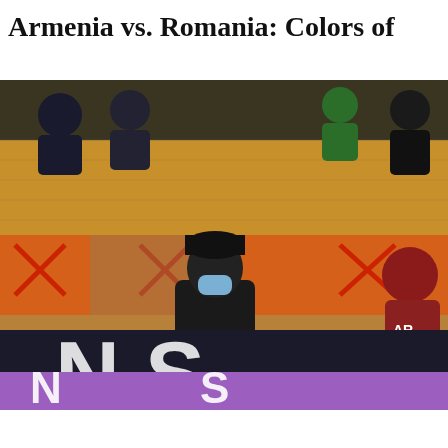Armenia vs. Romania: Colors of
[Figure (photo): A masked fan wearing black clothing claps at a football match, with empty stadium seats crossed out by red X markers visible in the background. Stands show fans behind a wire fence. A player in a maroon kit with letters 'AR' is partially visible at right. Large white letters appear at the bottom of the image.]